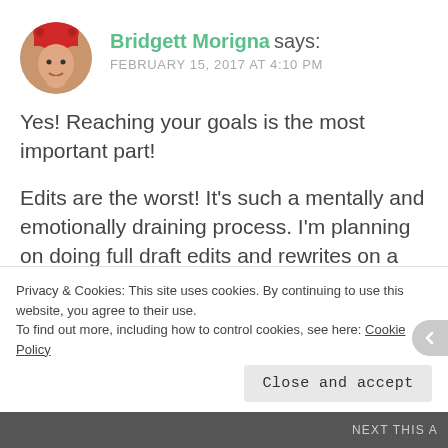[Figure (photo): Circular avatar photo of Bridgett Morigna wearing a red knit hat with ears, smiling, hand near chin]
Bridgett Morigna says:
FEBRUARY 15, 2017 AT 4:10 PM
Yes! Reaching your goals is the most important part!
Edits are the worst! It's such a mentally and emotionally draining process. I'm planning on doing full draft edits and rewrites on a manuscript later this year and I'm equal parts looking forward to it and dreading it. When I
Privacy & Cookies: This site uses cookies. By continuing to use this website, you agree to their use.
To find out more, including how to control cookies, see here: Cookie Policy
Close and accept